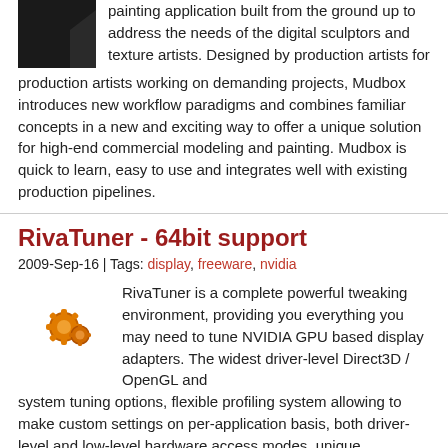painting application built from the ground up to address the needs of the digital sculptors and texture artists. Designed by production artists for production artists working on demanding projects, Mudbox introduces new workflow paradigms and combines familiar concepts in a new and exciting way to offer a unique solution for high-end commercial modeling and painting. Mudbox is quick to learn, easy to use and integrates well with existing production pipelines.
RivaTuner - 64bit support
2009-Sep-16 | Tags: display, freeware, nvidia
RivaTuner is a complete powerful tweaking environment, providing you everything you may need to tune NVIDIA GPU based display adapters. The widest driver-level Direct3D / OpenGL and system tuning options, flexible profiling system allowing to make custom settings on per-application basis, both driver-level and low-level hardware access modes, unique diagnostic and realtime hardware monitoring features and exclusive power user oriented tools like built-in registry editor and patch script engine make RivaTuner's feature